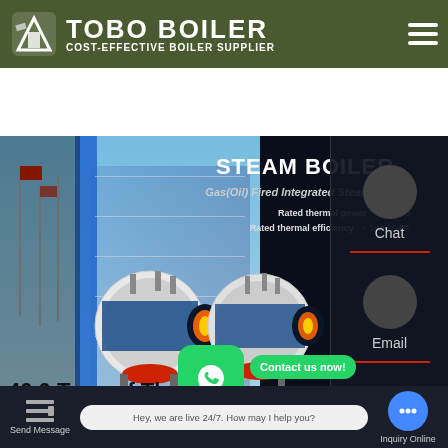[Figure (screenshot): TOBO BOILER website header with green-olive background, white logo icon, company name and tagline 'COST-EFFECTIVE BOILER SUPPLIER', and hamburger menu icon]
[Figure (screenshot): Steam boiler product banner showing dark background with building photograph on left, two industrial steam boilers in center, product text overlay reading STEAM BOILER / Gas(Oil) Fired Integrated Steam Boiler / Rated thermal power: 0.5-90t/h / Rated thermal efficiency: >100-104%, with Chat and Email contact buttons on right side panel]
40.0 Tons of The hospital Biogas Boiler
price
[Figure (screenshot): WhatsApp floating contact buttons: large green WhatsApp bubble icon in center, 'Contact us now!' green pill button, small WhatsApp circle on bottom-left, second 'Contact us now!' green pill button]
Send Message | Hey, we are live 24/7. How may I help you? | Inquiry Online